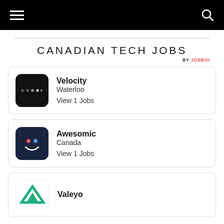CANADIAN TECH JOBS — BY JOBBIO
CANADIAN TECH JOBS
BY JOBBIO
Velocity — Waterloo — View 1 Jobs
Awesomic — Canada — View 1 Jobs
Valeyo